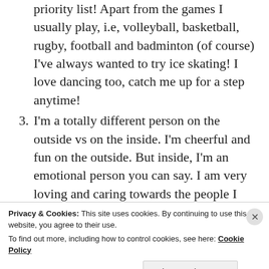priority list! Apart from the games I usually play, i.e, volleyball, basketball, rugby, football and badminton (of course) I've always wanted to try ice skating! I love dancing too, catch me up for a step anytime!
3. I'm a totally different person on the outside vs on the inside. I'm cheerful and fun on the outside. But inside, I'm an emotional person you can say. I am very loving and caring towards the people I adore but I try my best not to show or tell them. I'm afraid to express it for some reason which I'm yet to figure
Privacy & Cookies: This site uses cookies. By continuing to use this website, you agree to their use.
To find out more, including how to control cookies, see here: Cookie Policy
Close and accept